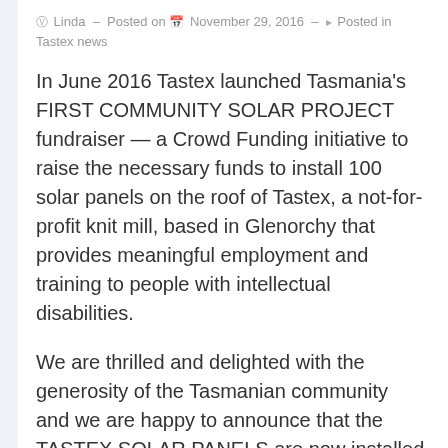Linda - Posted on November 29, 2016 - Posted in Tastex news
In June 2016 Tastex launched Tasmania's FIRST COMMUNITY SOLAR PROJECT fundraiser — a Crowd Funding initiative to raise the necessary funds to install 100 solar panels on the roof of Tastex, a not-for-profit knit mill, based in Glenorchy that provides meaningful employment and training to people with intellectual disabilities.
We are thrilled and delighted with the generosity of the Tasmanian community and we are happy to announce that the TASTEX SOLAR PANELS are now installed and